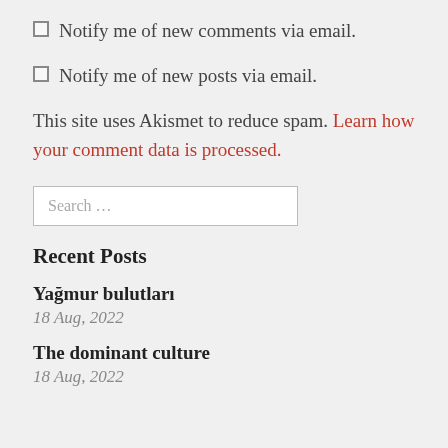Notify me of new comments via email.
Notify me of new posts via email.
This site uses Akismet to reduce spam. Learn how your comment data is processed.
Search …
Recent Posts
Yağmur bulutları
18 Aug, 2022
The dominant culture
18 Aug, 2022